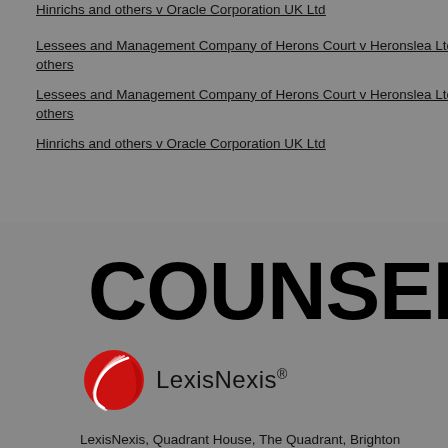Hinrichs and others v Oracle Corporation UK Ltd
Lessees and Management Company of Herons Court v Heronslea Ltd and others
Lessees and Management Company of Herons Court v Heronslea Ltd and others
Hinrichs and others v Oracle Corporation UK Ltd
[Figure (logo): COUNSEL magazine logo in large bold black text]
[Figure (logo): LexisNexis logo with red circular bird/quill graphic and LexisNexis text]
LexisNexis, Quadrant House, The Quadrant, Brighton Road, Sutton, SM2 5AS.